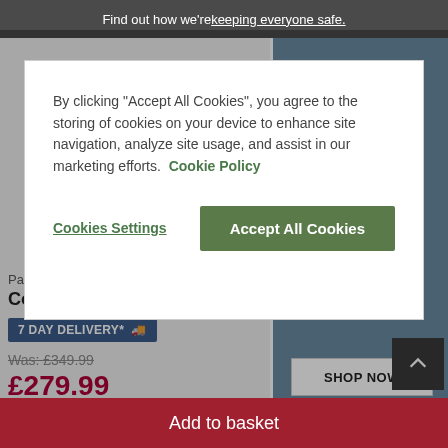Find out how we're keeping everyone safe.
By clicking "Accept All Cookies", you agree to the storing of cookies on your device to enhance site navigation, analyze site usage, and assist in our marketing efforts. Cookie Policy
Cookies Settings
Accept All Cookies
Paint
Console Table
7 DAY DELIVERY*
Was: £349.99
£279.99
Finance from £7 p/m*
Minimum basket spend of £500
SHOP NOW
Add to basket